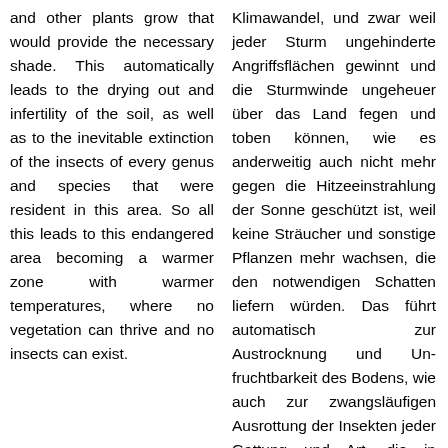and other plants grow that would provide the necessary shade. This automatically leads to the drying out and infertility of the soil, as well as to the inevitable extinction of the insects of every genus and species that were resident in this area. So all this leads to this endangered area becoming a warmer zone with warmer temperatures, where no vegetation can thrive and no insects can exist.
Klimawandel, und zwar weil jeder Sturm ungehinderte Angriffsflächen gewinnt und die Sturmwinde ungeheuer über das Land fegen und toben können, wie es anderweitig auch nicht mehr gegen die Hitzeeinstrahlung der Sonne geschützt ist, weil keine Sträucher und sonstige Pflanzen mehr wachsen, die den notwendigen Schatten liefern würden. Das führt automatisch zur Austrocknung und Un-fruchtbarkeit des Bodens, wie auch zur zwangsläufigen Ausrottung der Insekten jeder Gattung und Art, die in diesem Gebiet ansässig waren. Also führt